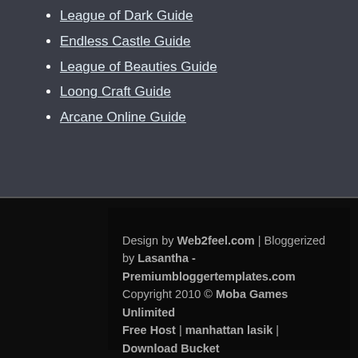League of Dark Guide
Endless Castle Guide
League of Beauties Guide
Loong Craft Guide
Arcane Online Guide
Design by Web2feel.com | Bloggerized by Lasantha - Premiumbloggertemplates.com
Copyright 2010 © Moba Games Unlimited
Free Host | manhattan lasik | Download Bucket
Subscribe to Posts | Subscribe to Comments